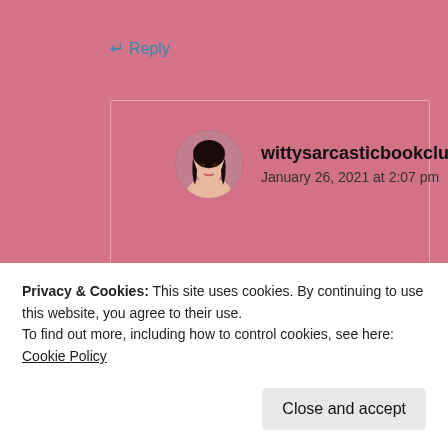↵ Reply
wittysarcasticbookclub
January 26, 2021 at 2:07 pm
They have stood the test of time for me and fantasy book nerd (it was a reread for him too). I hope you get a
Privacy & Cookies: This site uses cookies. By continuing to use this website, you agree to their use.
To find out more, including how to control cookies, see here: Cookie Policy
Close and accept